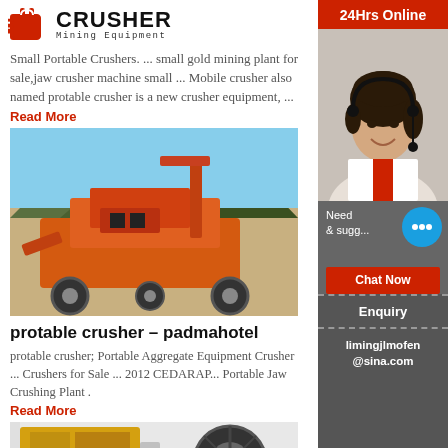[Figure (logo): Crusher Mining Equipment logo with red shopping bag icon and bold CRUSHER text]
Small Portable Crushers. ... small gold mining plant for sale,jaw crusher machine small ... Mobile crusher also named protable crusher is a new crusher equipment, ...
Read More
[Figure (photo): Orange mobile crusher/screening plant machinery in outdoor setting]
protable crusher – padmahotel
protable crusher; Portable Aggregate Equipment Crusher ... Crushers for Sale ... 2012 CEDARAP... Portable Jaw Crushing Plant .
Read More
[Figure (photo): Yellow jaw crusher machine indoors]
[Figure (infographic): 24Hrs Online sidebar with customer service representative photo, chat bubble, Chat Now button, Enquiry link, and email limingjlmofen@sina.com]